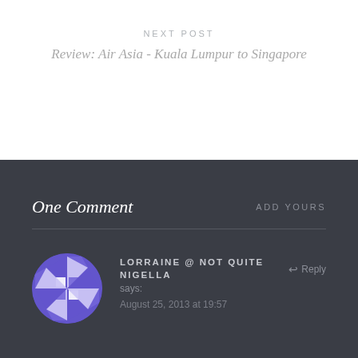NEXT POST
Review: Air Asia - Kuala Lumpur to Singapore
One Comment
ADD YOURS
LORRAINE @ NOT QUITE NIGELLA says:
August 25, 2013 at 19:57